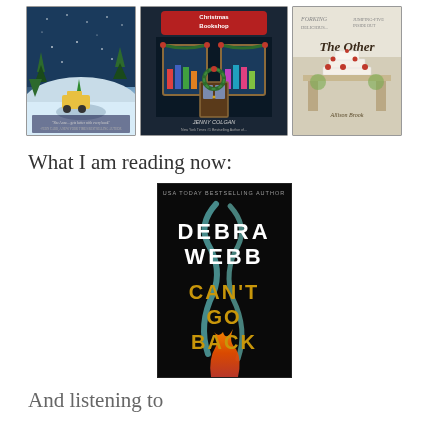[Figure (illustration): Three book covers in a row: 'Bells Ring' (winter snowy scene), 'The Christmas Bookshop' by Jenny Colgan (bookshop with Christmas decorations), and 'The Other' by Allison Brook (elegant table setting with cake).]
What I am reading now:
[Figure (illustration): Book cover for 'Can't Go Back' by Debra Webb (USA Today Bestselling Author). Dark black background with smoke/flame design and gold title text.]
And listening to